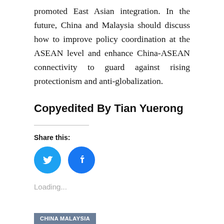promoted East Asian integration. In the future, China and Malaysia should discuss how to improve policy coordination at the ASEAN level and enhance China-ASEAN connectivity to guard against rising protectionism and anti-globalization.
Copyedited By Tian Yuerong
Share this:
[Figure (other): Twitter and Facebook social share icon buttons (circular, blue)]
Loading...
CHINA MALAYSIA